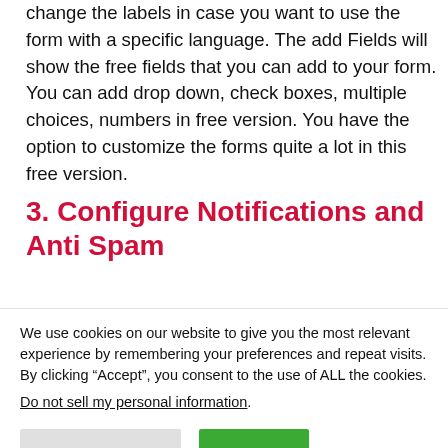change the labels in case you want to use the form with a specific language. The add Fields will show the free fields that you can add to your form. You can add drop down, check boxes, multiple choices, numbers in free version. You have the option to customize the forms quite a lot in this free version.
3. Configure Notifications and Anti Spam
We use cookies on our website to give you the most relevant experience by remembering your preferences and repeat visits. By clicking “Accept”, you consent to the use of ALL the cookies. Do not sell my personal information.